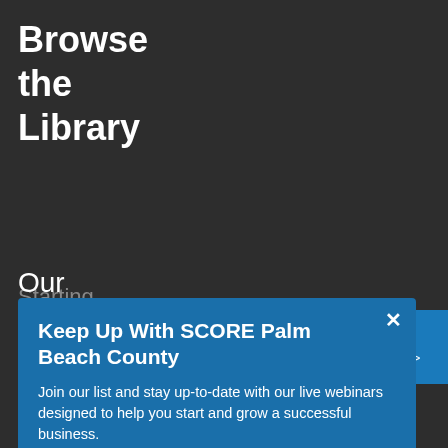Browse the Library
Starting
[Figure (screenshot): Popup modal dialog with blue background. Contains title 'Keep Up With SCORE Palm Beach County', body text about joining a list for live webinars, an email address input field, and a SUBMIT button.]
Our Programs
SCORE